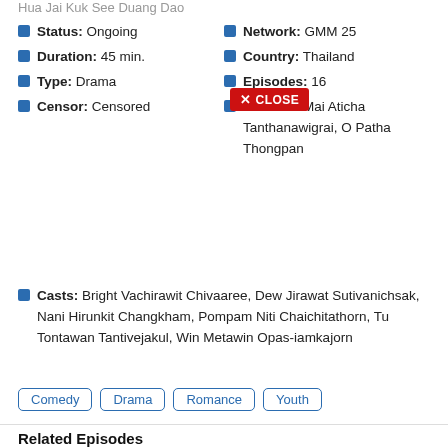Hua Jai Kuk See Duang Dao
Status: Ongoing
Duration: 45 min.
Type: Drama
Censor: Censored
Network: GMM 25
Country: Thailand
Episodes: 16
Director: Mai Aticha Tanthanawigrai, O Patha Thongpan
Casts: Bright Vachirawit Chivaaree, Dew Jirawat Sutivanichsak, Nani Hirunkit Changkham, Pompam Niti Chaichitathorn, Tu Tontawan Tantivejakul, Win Metawin Opas-iamkajorn
Comedy Drama Romance Youth
Related Episodes
แฝดมหาสนุก | F4 Thailand: Boys Over Flowers EP1 |